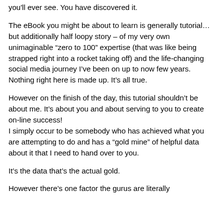you'll ever see. You have discovered it.
The eBook you might be about to learn is generally tutorial… but additionally half loopy story – of my very own unimaginable “zero to 100” expertise (that was like being strapped right into a rocket taking off) and the life-changing social media journey I’ve been on up to now few years.
Nothing right here is made up. It’s all true.
However on the finish of the day, this tutorial shouldn’t be about me. It’s about you and about serving to you to create on-line success!
I simply occur to be somebody who has achieved what you are attempting to do and has a “gold mine” of helpful data about it that I need to hand over to you.
It’s the data that’s the actual gold.
However there’s one factor the gurus are literally